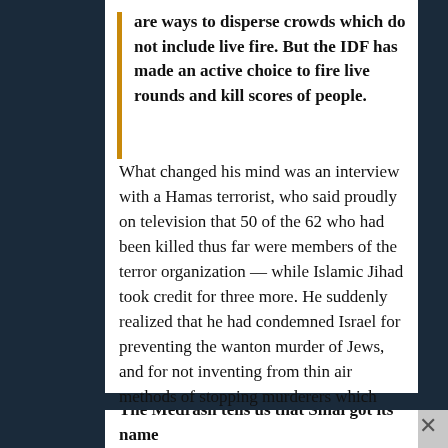are ways to disperse crowds which do not include live fire. But the IDF has made an active choice to fire live rounds and kill scores of people.
What changed his mind was an interview with a Hamas terrorist, who said proudly on television that 50 of the 62 who had been killed thus far were members of the terror organization — while Islamic Jihad took credit for three more. He suddenly realized that he had condemned Israel for preventing the wanton murder of Jews, and for not inventing from thin air methods of stopping murderers which simply do not exist. He had been duped.
The Medrash tells us that Sinai got its name